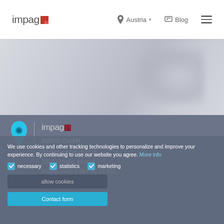impag | Austria | Blog
[Figure (screenshot): Hero/banner area with blurred grey background image]
[Figure (illustration): Blue location pin icon with vertical divider line]
[Figure (logo): impag logo in footer]
IMPAG GmbH
Neulinggasse 29/2/16
1030 Vienna, Austria
Phone : +43 1 907 39 13 310
info@impag.at
We use cookies and other tracking technologies to personalize and improve your experience. By continuing to use our website you agree. More info
necessary   statistics   marketing
allow cookies
Contact form